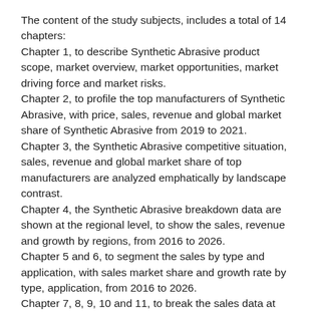The content of the study subjects, includes a total of 14 chapters: Chapter 1, to describe Synthetic Abrasive product scope, market overview, market opportunities, market driving force and market risks. Chapter 2, to profile the top manufacturers of Synthetic Abrasive, with price, sales, revenue and global market share of Synthetic Abrasive from 2019 to 2021. Chapter 3, the Synthetic Abrasive competitive situation, sales, revenue and global market share of top manufacturers are analyzed emphatically by landscape contrast. Chapter 4, the Synthetic Abrasive breakdown data are shown at the regional level, to show the sales, revenue and growth by regions, from 2016 to 2026. Chapter 5 and 6, to segment the sales by type and application, with sales market share and growth rate by type, application, from 2016 to 2026. Chapter 7, 8, 9, 10 and 11, to break the sales data at the country level, with sales, revenue and market share for key